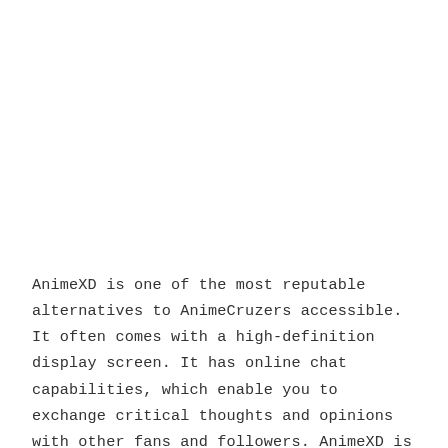AnimeXD is one of the most reputable alternatives to AnimeCruzers accessible. It often comes with a high-definition display screen. It has online chat capabilities, which enable you to exchange critical thoughts and opinions with other fans and followers. AnimeXD is content-rich, which streamlines picking video snippets and